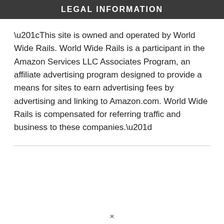LEGAL INFORMATION
“This site is owned and operated by World Wide Rails. World Wide Rails is a participant in the Amazon Services LLC Associates Program, an affiliate advertising program designed to provide a means for sites to earn advertising fees by advertising and linking to Amazon.com. World Wide Rails is compensated for referring traffic and business to these companies.”